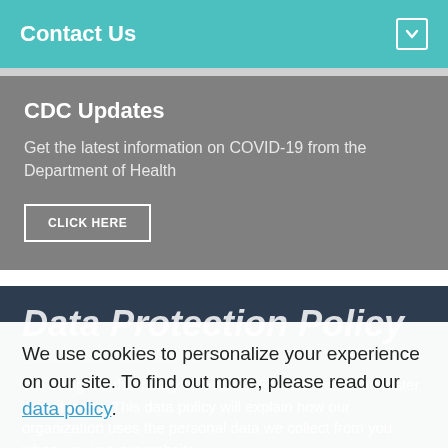Contact Us
CDC Updates
Get the latest information on COVID-19 from the Department of Health
CLICK HERE
Data Protection Policy
Effective date: November 19
We use cookies to personalize your experience on our site. To find out more, please read our data policy.
We designed this policy to help our Franchisees and Master Franchisees. This data policy will explain how our organization uses the personal data we collect from you when you use our website